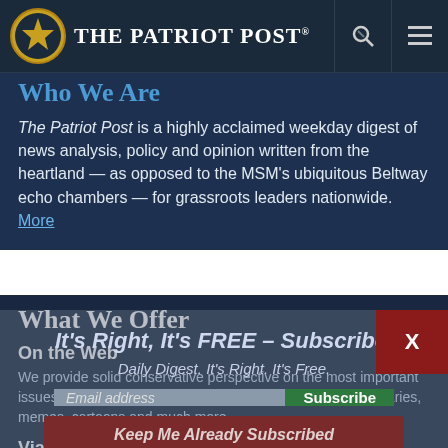The Patriot Post
Who We Are
The Patriot Post is a highly acclaimed weekday digest of news analysis, policy and opinion written from the heartland — as opposed to the MSM's ubiquitous Beltway echo chambers — for grassroots leaders nationwide. More
What We Offer
On the Web
We provide solid conservative perspective on the most important issues, including analysis, opinion columns, headline summaries, memes, cartoons and much more.
Via Email
Choose our full-length Digest or our quick-reading Snapshot for a summary of important news. We also offer Cartoons & Memes on Monday and Alexander's column on Wednesday.